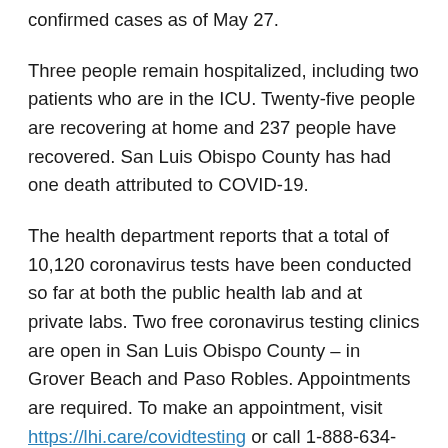confirmed cases as of May 27.
Three people remain hospitalized, including two patients who are in the ICU. Twenty-five people are recovering at home and 237 people have recovered. San Luis Obispo County has had one death attributed to COVID-19.
The health department reports that a total of 10,120 coronavirus tests have been conducted so far at both the public health lab and at private labs. Two free coronavirus testing clinics are open in San Luis Obispo County – in Grover Beach and Paso Robles. Appointments are required. To make an appointment, visit https://lhi.care/covidtesting or call 1-888-634-1123.
While the county is opening up, we are starting to see